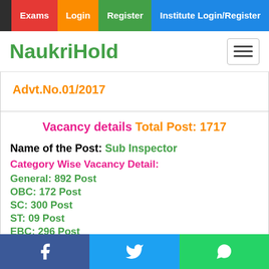Exams | Login | Register | Institute Login/Register
NaukriHold
Advt.No.01/2017
Vacancy details Total Post: 1717
Name of the Post: Sub Inspector
Category Wise Vacancy Detail:
General: 892 Post
OBC: 172 Post
SC: 300 Post
ST: 09 Post
EBC: 296 Post
Facebook | Twitter | WhatsApp